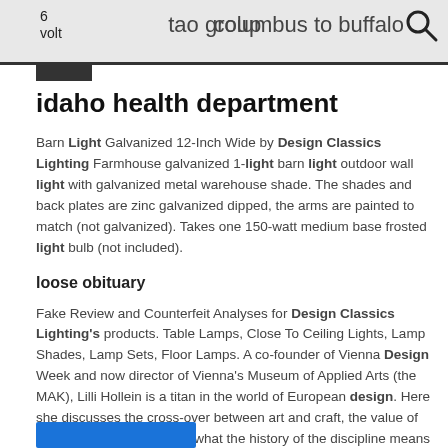6
volt
tao group  columbus to buffalo
idaho health department
Barn Light Galvanized 12-Inch Wide by Design Classics Lighting Farmhouse galvanized 1-light barn light outdoor wall light with galvanized metal warehouse shade. The shades and back plates are zinc galvanized dipped, the arms are painted to match (not galvanized). Takes one 150-watt medium base frosted light bulb (not included).
loose obituary
Fake Review and Counterfeit Analyses for Design Classics Lighting's products. Table Lamps, Close To Ceiling Lights, Lamp Shades, Lamp Sets, Floor Lamps. A co-founder of Vienna Design Week and now director of Vienna's Museum of Applied Arts (the MAK), Lilli Hollein is a titan in the world of European design. Here she discusses the cross-over between art and craft, the value of Scandinavian design and what the history of the discipline means to her and the world more broadly..